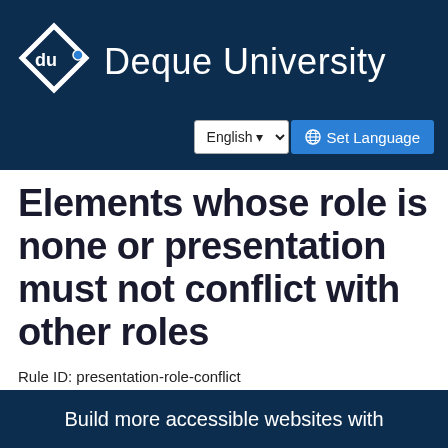Deque University
Elements whose role is none or presentation must not conflict with other roles
Rule ID: presentation-role-conflict
Ruleset: axe-core 4.4
User Impact: Minor
Guidelines: Deque Best Practice
Build more accessible websites with